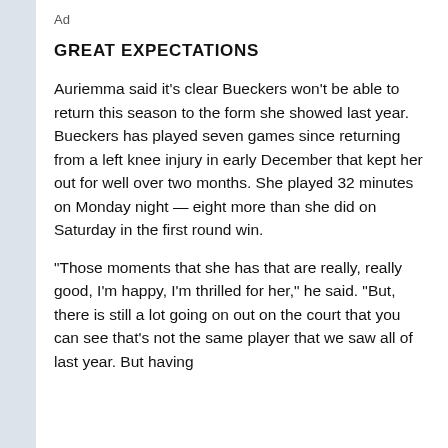Ad
GREAT EXPECTATIONS
Auriemma said it's clear Bueckers won't be able to return this season to the form she showed last year. Bueckers has played seven games since returning from a left knee injury in early December that kept her out for well over two months. She played 32 minutes on Monday night — eight more than she did on Saturday in the first round win.
“Those moments that she has that are really, really good, I’m happy, I’m thrilled for her,” he said. “But, there is still a lot going on out on the court that you can see that’s not the same player that we saw all of last year. But having